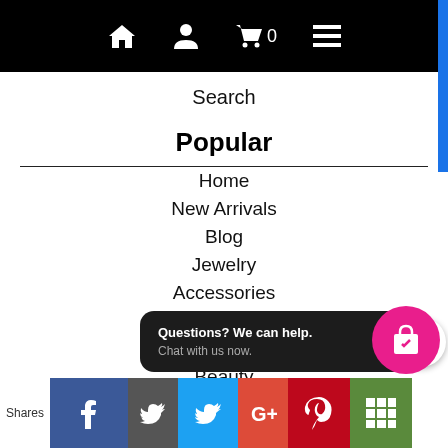Navigation bar with home, account, cart (0), and menu icons
Search
Popular
Home
New Arrivals
Blog
Jewelry
Accessories
Clothing
Too Cute Kids
Beauty
Favors
Sale
Reward Program
Questions? We can help. Chat with us now.
Shares | Facebook | Twitter | Google+ | Pinterest | Grid